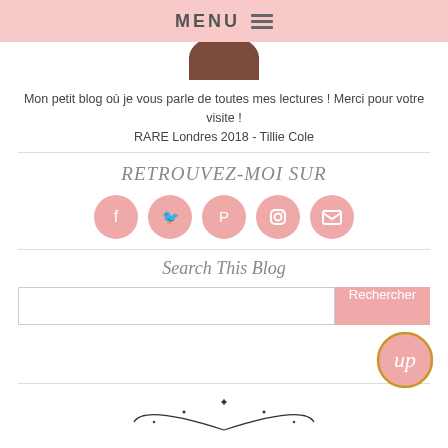MENU
[Figure (photo): Partial view of profile photo (cropped circle showing top of person's head)]
Mon petit blog où je vous parle de toutes mes lectures ! Merci pour votre visite !
RARE Londres 2018 - Tillie Cole
RETROUVEZ-MOI SUR
[Figure (infographic): Row of 5 pink circle social media icons: Facebook, Twitter, Pinterest, Instagram, Email]
Search This Blog
[Figure (screenshot): Search bar with input field and pink Rechercher button, and a circular Up logo badge in the bottom right]
[Figure (illustration): Decorative ornamental arch/wreath illustration at bottom, partially visible]